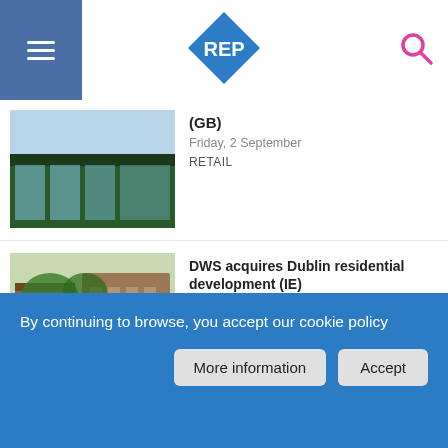REP
(GB)
Friday, 2 September
RETAIL
DWS acquires Dublin residential development (IE)
Friday, 2 September
RESIDENTIAL
Greystar acquires London BtR scheme (GB)
Friday, 2 September
RESIDENTIAL
By continuing to browse, you accept our cookie policy